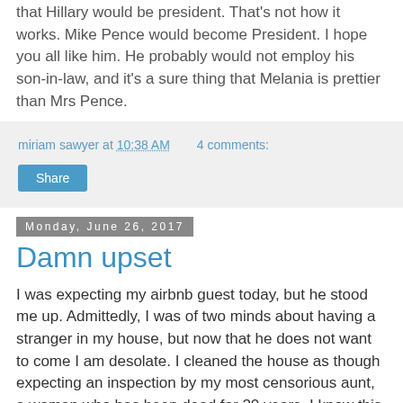that Hillary would be president. That's not how it works. Mike Pence would become President. I hope you all like him. He probably would not employ his son-in-law, and it's a sure thing that Melania is prettier than Mrs Pence.
miriam sawyer at 10:38 AM    4 comments:
Share
Monday, June 26, 2017
Damn upset
I was expecting my airbnb guest today, but he stood me up. Admittedly, I was of two minds about having a stranger in my house, but now that he does not want to come I am desolate. I cleaned the house as though expecting an inspection by my most censorious aunt, a woman who has been dead for 20 years. I know this attitude on my part is unreasonable. I am fully aware of the stupidity of it. The feeling is strong though.